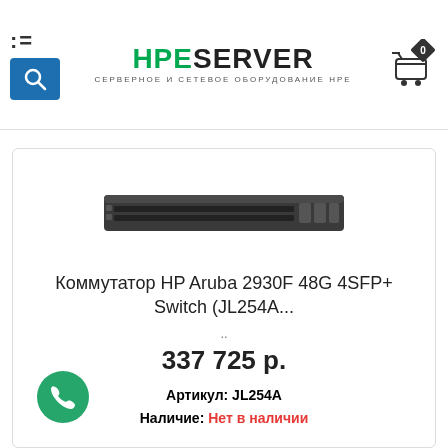[Figure (logo): HPEServer logo with green HPE and black SERVER text, subtitle СЕРВЕРНОЕ И СЕТЕВОЕ ОБОРУДОВАНИЕ HPE]
[Figure (photo): HP Aruba 2930F 48G 4SFP+ Switch hardware product photo, 1U rack switch with many ports]
Коммутатор HP Aruba 2930F 48G 4SFP+ Switch (JL254A...
..
337 725 р.
Артикул: JL254A
Наличие: Нет в наличии